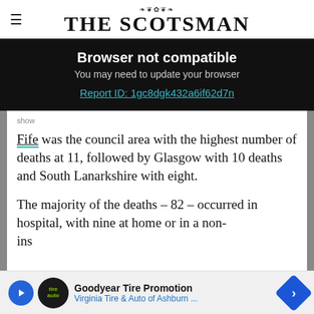THE SCOTSMAN
Browser not compatible
You may need to update your browser
Report ID: 1gc8dgk432a6if62d7n
show
Fife was the council area with the highest number of deaths at 11, followed by Glasgow with 10 deaths and South Lanarkshire with eight.
The majority of the deaths – 82 – occurred in hospital, with nine at home or in a non-
ins
Goodyear Tire Promotion
Virginia Tire & Auto of Ashburn ...